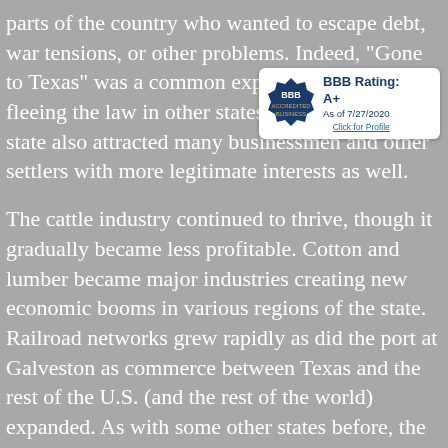parts of the country who wanted to escape debt, war tensions, or other problems. Indeed, "Gone to Texas" was a common expression for those fleeing the law in other states. Nevertheless, the state also attracted many businessmen and other settlers with more legitimate interests as well.
[Figure (logo): BBB Accredited Business logo with rating A+ as of 7/27/2020 and Click for Profile link]
The cattle industry continued to thrive, though it gradually became less profitable. Cotton and lumber became major industries creating new economic booms in various regions of the state. Railroad networks grew rapidly as did the port at Galveston as commerce between Texas and the rest of the U.S. (and the rest of the world) expanded. As with some other states before, the lumber industry quickly expanded in Texas and was its largest industry before the beginning of the 20th century.
In 1900, Texas suffered the deadliest natural disaster in U.S.